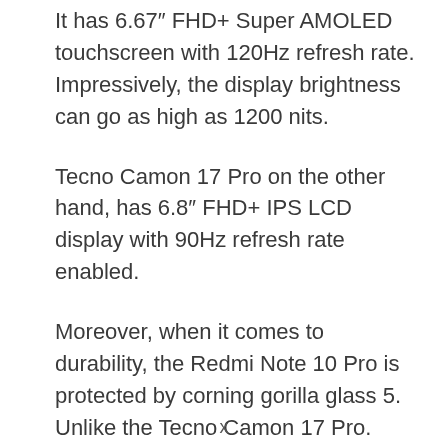It has 6.67″ FHD+ Super AMOLED touchscreen with 120Hz refresh rate. Impressively, the display brightness can go as high as 1200 nits.
Tecno Camon 17 Pro on the other hand, has 6.8″ FHD+ IPS LCD display with 90Hz refresh rate enabled.
Moreover, when it comes to durability, the Redmi Note 10 Pro is protected by corning gorilla glass 5. Unlike the Tecno Camon 17 Pro.
Thus, in overall, the Redmi Note 10 Pro has the best
x